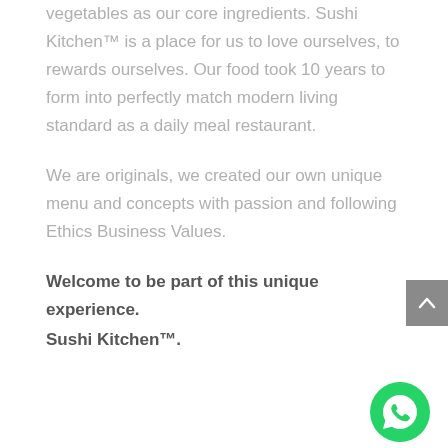vegetables as our core ingredients. Sushi Kitchen™ is a place for us to love ourselves, to rewards ourselves. Our food took 10 years to form into perfectly match modern living standard as a daily meal restaurant.
We are originals, we created our own unique menu and concepts with passion and following Ethics Business Values.
Welcome to be part of this unique experience.
Sushi Kitchen™.
[Figure (other): Grey scroll-to-top button with upward chevron arrow]
[Figure (other): Green circular WhatsApp contact button with phone/chat icon]